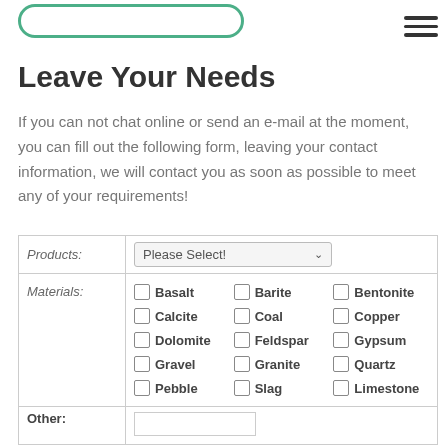[Figure (illustration): Green rounded rectangle button outline at top of page]
[Figure (illustration): Hamburger menu icon (three horizontal lines) in top right corner]
Leave Your Needs
If you can not chat online or send an e-mail at the moment, you can fill out the following form, leaving your contact information, we will contact you as soon as possible to meet any of your requirements!
| Products: | Please Select! |
| --- | --- |
| Materials: | Basalt, Barite, Bentonite, Calcite, Coal, Copper, Dolomite, Feldspar, Gypsum, Gravel, Granite, Quartz, Pebble, Slag, Limestone |
| Other: |  |